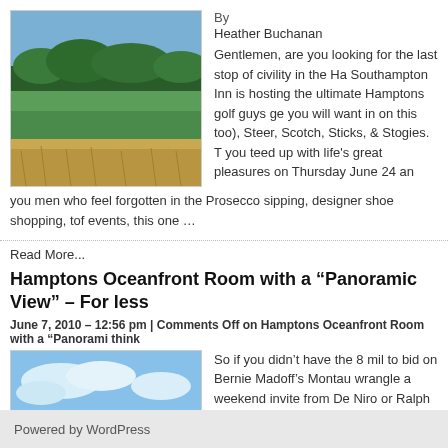By
Heather Buchanan
[Figure (photo): Golf course landscape with green fairways, trees on horizon, and golden grass in foreground]
Gentlemen, are you looking for the last stop of civility in the Ha Southampton Inn is hosting the ultimate Hamptons golf guys ge you will want in on this too), Steer, Scotch, Sticks, & Stogies. T you teed up with life's great pleasures on Thursday June 24 an you men who feel forgotten in the Prosecco sipping, designer shoe shopping, tof events, this one …
Read More...
Hamptons Oceanfront Room with a "Panoramic View" – For less
June 7, 2010 – 12:56 pm | Comments Off on Hamptons Oceanfront Room with a "Panorami think
[Figure (photo): Beach scene with Adirondack chairs, sandy shore, ocean waves and blue sky with clouds]
So if you didn't have the 8 mil to bid on Bernie Madoff's Montau wrangle a weekend invite from De Niro or Ralph Lauren then h Hamptons' oceanfront room with a private beach and a kick as surfin' waves? What if we told you that you can – and as for as little as $245 a okay that price only lasts until June  24 but then it's …
Read More...
Powered by WordPress